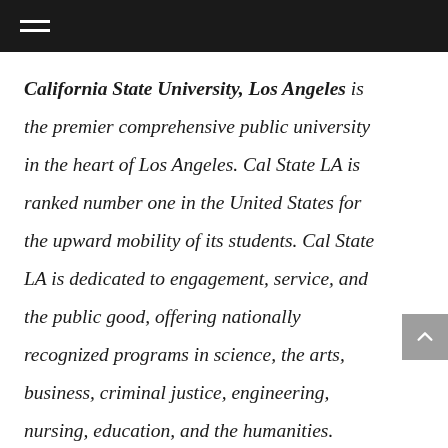California State University, Los Angeles is the premier comprehensive public university in the heart of Los Angeles. Cal State LA is ranked number one in the United States for the upward mobility of its students. Cal State LA is dedicated to engagement, service, and the public good, offering nationally recognized programs in science, the arts, business, criminal justice, engineering, nursing, education, and the humanities. Founded in 1947, the University serves more than 26,000 students and has